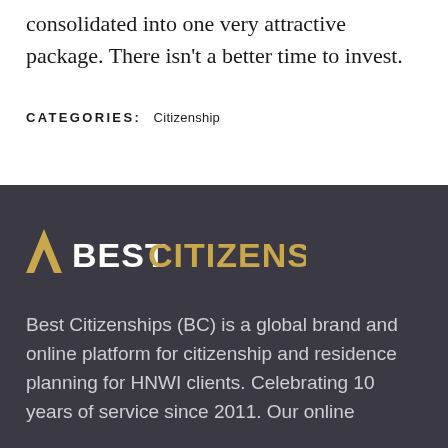consolidated into one very attractive package. There isn't a better time to invest.
CATEGORIES:  Citizenship
[Figure (logo): Best Citizenships logo: gold chevron/arrow icon on left, white bold text BEST and gold text CITIZENSHIPS on right, on dark background]
Best Citizenships (BC) is a global brand and online platform for citizenship and residence planning for HNWI clients. Celebrating 10 years of service since 2011. Our online